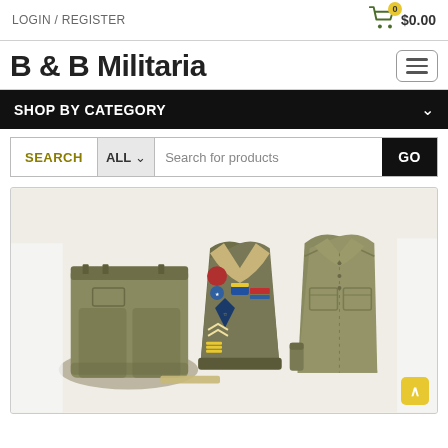LOGIN / REGISTER
B & B Militaria
SHOP BY CATEGORY
SEARCH  ALL  Search for products  GO
[Figure (photo): Military uniforms and jacket with patches displayed on white background. Left: olive drab trousers folded. Center: WWII-era Ike jacket with colorful unit patches and rank insignia. Right: olive drab long-sleeve field shirt.]